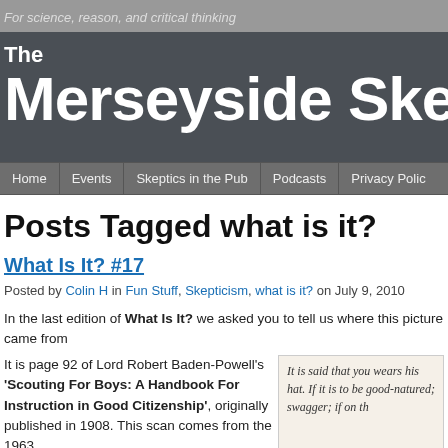For science, reason, and critical thinking
[Figure (screenshot): The Merseyside Skeptics Society website banner with dark gray background and white bold text]
[Figure (screenshot): Navigation bar with items: Home, Events, Skeptics in the Pub, Podcasts, Privacy Policy]
Posts Tagged what is it?
What Is It? #17
Posted by Colin H in Fun Stuff, Skepticism, what is it? on July 9, 2010
In the last edition of What Is It? we asked you to tell us where this picture came from
It is page 92 of Lord Robert Baden-Powell's 'Scouting For Boys: A Handbook For Instruction in Good Citizenship', originally published in 1908. This scan comes from the 1963
It is said that you wears his hat. If it is to be good-natured; swagger; if on th